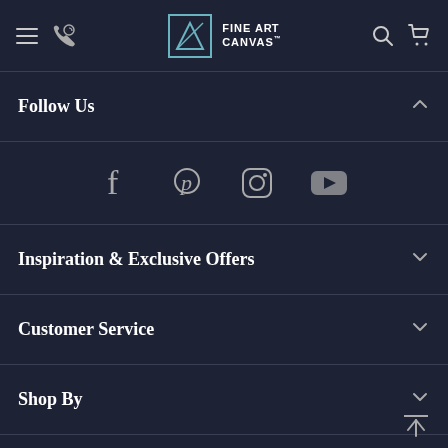Fine Art Canvas — navigation bar with hamburger, phone, logo, search, cart icons
Follow Us
[Figure (infographic): Social media icons: Facebook, Pinterest, Instagram, YouTube]
Inspiration & Exclusive Offers
Customer Service
Shop By
Connect with Us